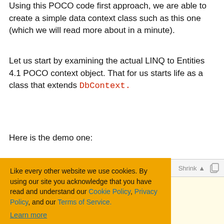Using this POCO code first approach, we are able to create a simple data context class such as this one (which we will read more about in a minute).
Let us start by examining the actual LINQ to Entities 4.1 POCO context object. That for us starts life as a class that extends DbContext.
Here is the demo one:
[Figure (screenshot): Code editor area with light yellow background showing partial C# code. Toolbar with Shrink and copy icon buttons visible at top right. Code lines partially visible showing .c; and aContextBase and public EfDataContextBase(string text.]
Like every other website we use cookies. By using our site you acknowledge that you have read and understand our Cookie Policy, Privacy Policy, and our Terms of Service. Learn more
Ask me later | Decline | Allow cookies